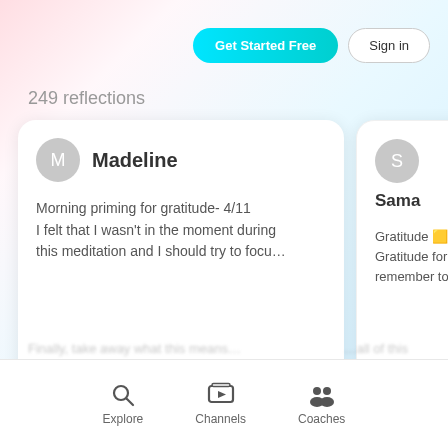[Figure (screenshot): App UI screenshot showing 249 reflections page with user cards for Madeline and Sama, Get Started Free and Sign in buttons, and bottom nav bar with Explore, Channels, Coaches]
249 reflections
Madeline
Morning priming for gratitude- 4/11
I felt that I wasn't in the moment during this meditation and I should try to focu…
Sama
Gratitude 🟨🟨
Gratitude for
remember to
Explore   Channels   Coaches